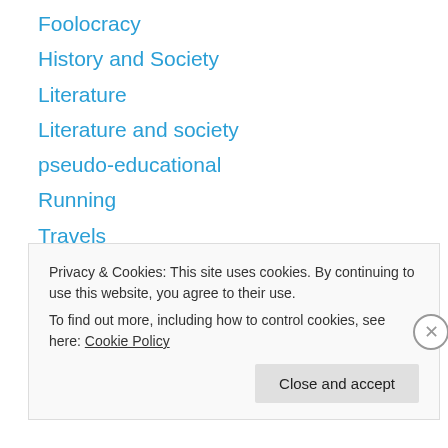Foolocracy
History and Society
Literature
Literature and society
pseudo-educational
Running
Travels
trips
Uncategorized
Archives
July 2023
Privacy & Cookies: This site uses cookies. By continuing to use this website, you agree to their use.
To find out more, including how to control cookies, see here: Cookie Policy
Close and accept